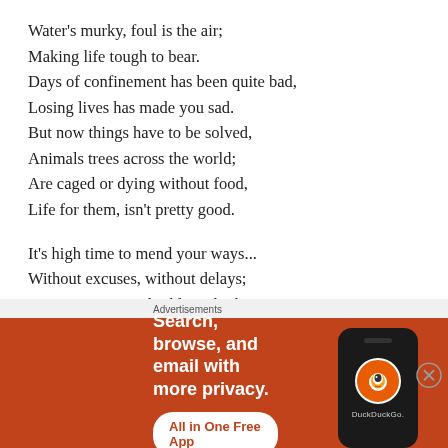Water's murky, foul is the air;
Making life tough to bear.
Days of confinement has been quite bad,
Losing lives has made you sad.
But now things have to be solved,
Animals trees across the world;
Are caged or dying without food,
Life for them, isn't pretty good.

It's high time to mend your ways...
Without excuses, without delays;
Stop constructing buildings high!
Those concrete jungles make us sigh.
[Figure (other): DuckDuckGo advertisement banner with orange background showing 'Search, browse, and email with more privacy. All in One Free App' with phone mockup and DuckDuckGo logo]